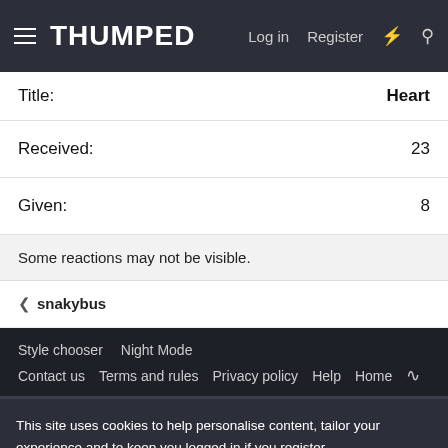THUMPED — Log in | Register
Title:  Heart
Received:  23
Given:  8
Some reactions may not be visible.
< snakybus
Style chooser  Night Mode  Contact us  Terms and rules  Privacy policy  Help  Home
This site uses cookies to help personalise content, tailor your experience and to keep you logged in if you register.
By continuing to use this site, you are consenting to our use of cookies.